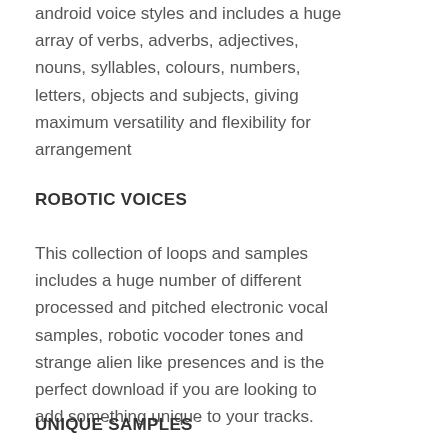android voice styles and includes a huge array of verbs, adverbs, adjectives, nouns, syllables, colours, numbers, letters, objects and subjects, giving maximum versatility and flexibility for arrangement
ROBOTIC VOICES
This collection of loops and samples includes a huge number of different processed and pitched electronic vocal samples, robotic vocoder tones and strange alien like presences and is the perfect download if you are looking to add something unique to your tracks.
UNIQUE SAMPLES